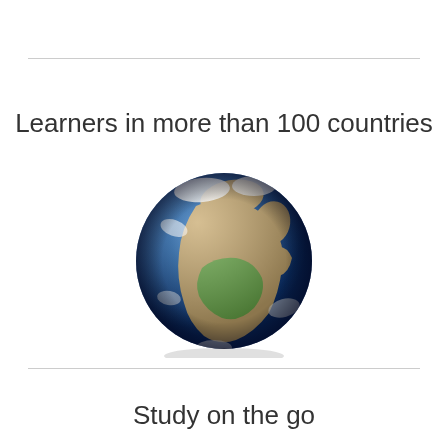Learners in more than 100 countries
[Figure (illustration): A 3D rendered globe showing Earth with Africa prominently centered, surrounded by blue oceans and white clouds]
Study on the go